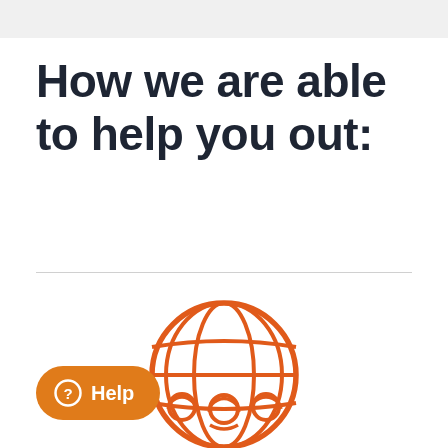How we are able to help you out:
[Figure (illustration): Orange globe/world icon with three support agent figures (wearing headsets) inside, representing global customer support team]
Help